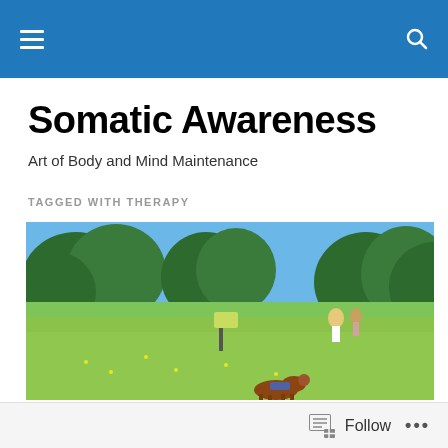Somatic Awareness
Art of Body and Mind Maintenance
TAGGED WITH THERAPY
[Figure (photo): A sunny park scene with green grass, trees in the background, people and a dog in the foreground]
Follow ...